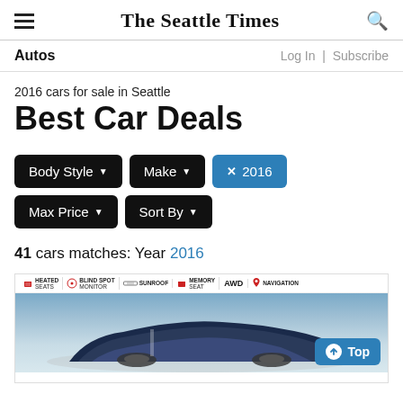The Seattle Times
Autos | Log In | Subscribe
2016 cars for sale in Seattle
Best Car Deals
Body Style ▼  Make ▼  ✕ 2016  Max Price ▼  Sort By ▼
41 cars matches: Year 2016
[Figure (photo): Car listing photo showing a vehicle with feature badges: Heated Seats, Blind Spot Monitor, Sunroof, Memory Seat, AWD, Navigation. Photo shows a blue/silver SUV. A 'Top' button appears in the lower right.]